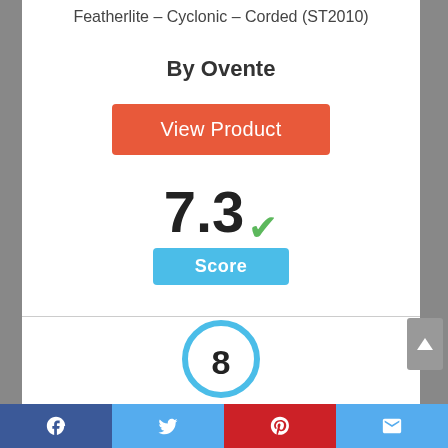Featherlite – Cyclonic – Corded (ST2010)
By Ovente
View Product
7.3 ✓
Score
[Figure (other): Circle badge with number 8 inside, blue outline]
Facebook | Twitter | Pinterest | Email